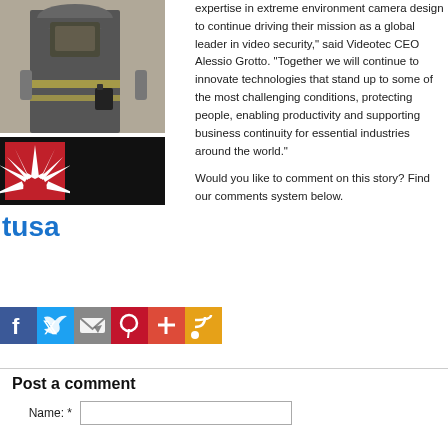[Figure (photo): Photo of a firefighter in gear with camera equipment attached to belt]
[Figure (logo): TUSA logo: red starburst icon on black background with blue 'tusa' text below]
expertise in extreme environment camera design to continue driving their mission as a global leader in video security," said Videotec CEO Alessio Grotto. "Together we will continue to innovate technologies that stand up to some of the most challenging conditions, protecting people, enabling productivity and supporting business continuity for essential industries around the world."
Would you like to comment on this story? Find our comments system below.
[Figure (infographic): Social media sharing icons: Facebook (blue), Twitter (light blue), Email (grey), Pinterest (red), Add/Plus (orange-red), RSS feed (orange)]
Post a comment
Name: *